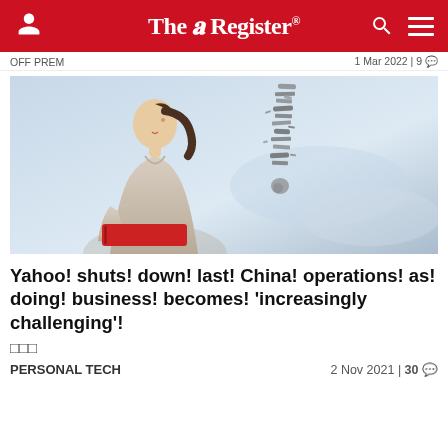The Register
OFF PREM   1 Mar 2022 | 9
[Figure (photo): Woman in beige jacket holding a red book, looking up at a scattered exclamation mark made of text/letters floating in the air]
Yahoo! shuts! down! last! China! operations! as! doing! business! becomes! 'increasingly challenging'!
☐☐☐
PERSONAL TECH   2 Nov 2021 | 30